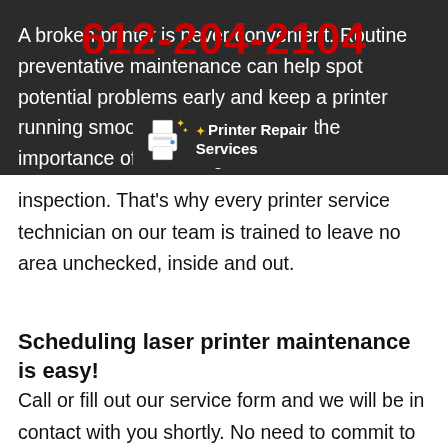A broken printer is never convenient. Routine preventative maintenance can help spot potential problems early and keep a printer running smoothly. We understand the importance of a thorough inspection. That's why every printer service technician on our team is trained to leave no area unchecked, inside and out.
[Figure (logo): Printer Repair Services logo with printer icon and sparkle stars]
Scheduling laser printer maintenance is easy!
Call or fill out our service form and we will be in contact with you shortly. No need to commit to a contract. We can schedule a time at your convenience for a laser